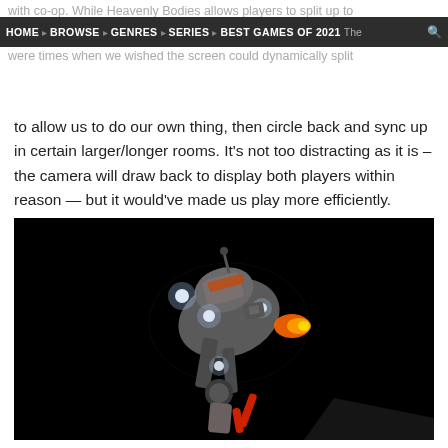HOME  BROWSE  GENRES  SERIES  BEST GAMES OF 2021
with co-op. While Heavenly Bodies allows players to split up to were times when we wished the screen could dynamically split to allow us to do our own thing, then circle back and sync up in certain larger/longer rooms. It's not too distracting as it is – the camera will draw back to display both players within reason — but it would've made us play more efficiently. However, getting in your partner's way unintentionally (or purposely) may be a large part of the charm, so the closeness isn't all terrible.
[Figure (photo): Dark screenshot from a video game showing a mechanical spacecraft or robot with glowing lights against a black background, viewed from below at an angle]